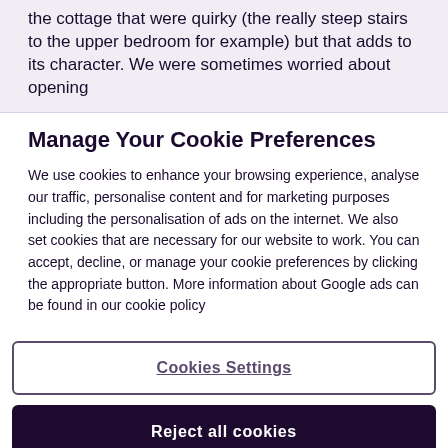the cottage that were quirky (the really steep stairs to the upper bedroom for example) but that adds to its character. We were sometimes worried about opening
Manage Your Cookie Preferences
We use cookies to enhance your browsing experience, analyse our traffic, personalise content and for marketing purposes including the personalisation of ads on the internet. We also set cookies that are necessary for our website to work. You can accept, decline, or manage your cookie preferences by clicking the appropriate button. More information about Google ads can be found in our cookie policy
Cookies Settings
Reject all cookies
Accept all cookies